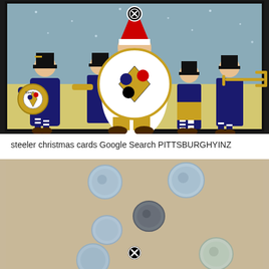[Figure (illustration): Illustrated Pittsburgh Steelers Christmas card scene showing Santa Claus in Steelers colors playing a bass drum with the Steelers logo, surrounded by elf-like marching band members in black and gold uniforms playing instruments including tuba and trombone, with snow in the background. A close/remove button (X in circle) appears at the top center of the image.]
steeler christmas cards Google Search PITTSBURGHYINZ
[Figure (photo): Photo of several coins scattered on a beige/tan background. The coins appear to be various denominations and show profiles of faces. A close/remove button (X in circle) appears at the bottom center of the image. The photo is partially cut off at the bottom.]